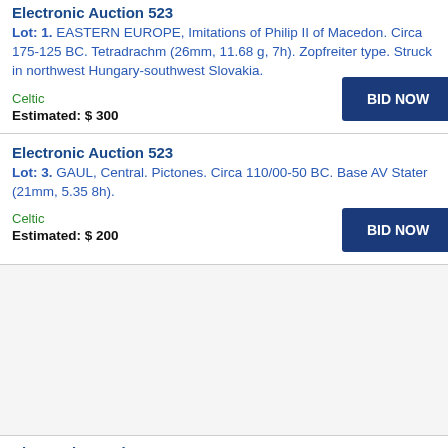Electronic Auction 523
Lot: 1. EASTERN EUROPE, Imitations of Philip II of Macedon. Circa 175-125 BC. Tetradrachm (26mm, 11.68 g, 7h). Zopfreiter type. Struck in northwest Hungary-southwest Slovakia.
Celtic
Estimated: $ 300
Electronic Auction 523
Lot: 3. GAUL, Central. Pictones. Circa 110/00-50 BC. Base AV Stater (21mm, 5.35 8h).
Celtic
Estimated: $ 200
[Figure (other): Empty image area for auction lot]
Electronic Auction 523
Lot: 5. GAUL, Northwest. Aulierci Cenomani. 2nd century BC. AV Quarter Stater...